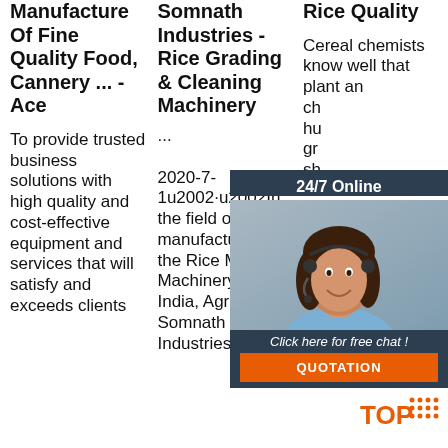Manufacture Of Fine Quality Food, Cannery ... - Ace
To provide trusted business solutions with high quality and cost-effective equipment and services that will satisfy and exceeds clients
Somnath Industries - Rice Grading & Cleaning Machinery
··· 2020-7-1u2002·u2002In the field of manufacturing the Rice Mil Machinery in India, Agra based Somnath Industries is
Rice Quality Cereal chemists know well that plant an ch hu gr sh to gr le interlocking, rice cracking behaviour, crack resistance,
[Figure (photo): Customer service agent (woman with headset) overlay panel with 24/7 Online label, Click here for free chat link, and QUOTATION orange button]